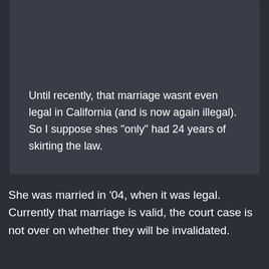Until recently, that marriage wasnt even legal in California (and is now again illegal). So I suppose shes "only" had 24 years of skirting the law.
She was married in '04, when it was legal. Currently that marriage is valid, the court case is not over on whether they will be invalidated.